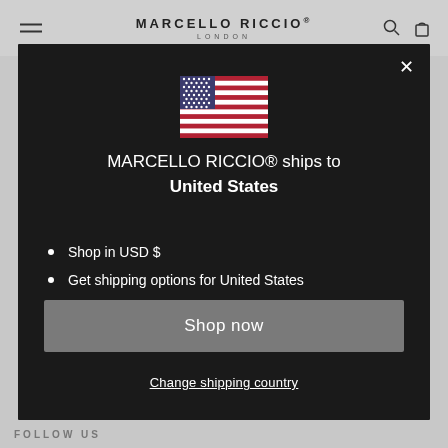MARCELLO RICCIO LONDON
[Figure (screenshot): A popup modal on the Marcello Riccio London website showing a US flag, shipping information to United States, bulleted list items, a 'Shop now' button, and a 'Change shipping country' link.]
MARCELLO RICCIO® ships to United States
Shop in USD $
Get shipping options for United States
Shop now
Change shipping country
FOLLOW US